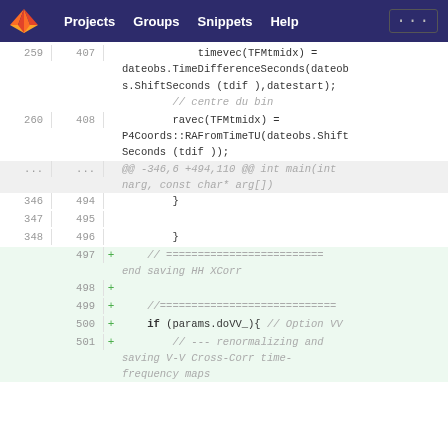Projects  Groups  Snippets  Help  ...
[Figure (screenshot): GitLab diff view showing code lines 259-260 (old) / 407-408 (new) with timevec and ravec assignments, a hunk header for @@ -346,6 +494,110 @@, lines 346-348 (old) / 494-496 (new) with closing braces, and new lines 497-501 showing added comments and if statement for params.doVV_]